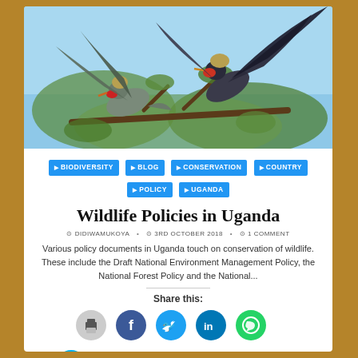[Figure (photo): Two grey crowned cranes with wings spread perched on a tree branch against a blue sky with green foliage]
BIODIVERSITY
BLOG
CONSERVATION
COUNTRY
POLICY
UGANDA
Wildlife Policies in Uganda
DIDIWAMUKOYA · 3RD OCTOBER 2018 · 1 COMMENT
Various policy documents in Uganda touch on conservation of wildlife. These include the Draft National Environment Management Policy, the National Forest Policy and the National...
Share this: